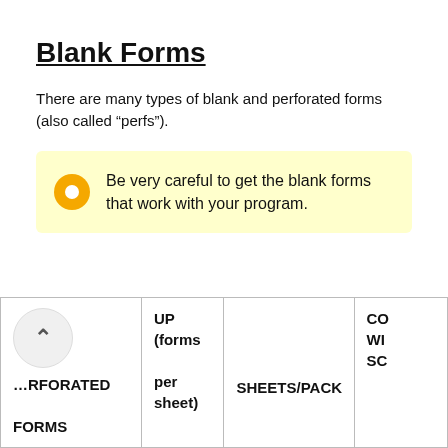Blank Forms
There are many types of blank and perforated forms (also called “perfs”).
Be very careful to get the blank forms that work with your program.
| PERFORATED FORMS | UP (forms per sheet) | SHEETS/PACK | CO WI SC |
| --- | --- | --- | --- |